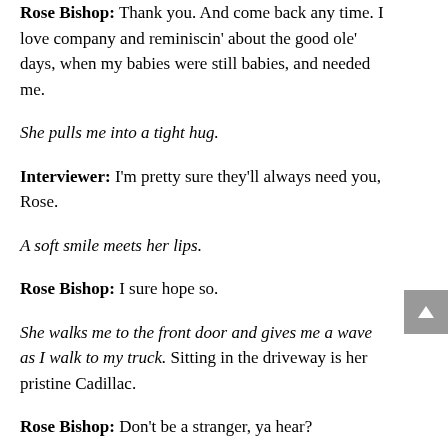Rose Bishop: Thank you. And come back any time. I love company and reminiscin' about the good ole' days, when my babies were still babies, and needed me.
She pulls me into a tight hug.
Interviewer: I'm pretty sure they'll always need you, Rose.
A soft smile meets her lips.
Rose Bishop: I sure hope so.
She walks me to the front door and gives me a wave as I walk to my truck. Sitting in the driveway is her pristine Cadillac.
Rose Bishop: Don't be a stranger, ya hear?
Interviewer: Yes ma'am! Have fun at quilt club!